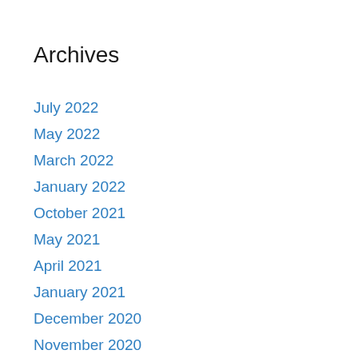Archives
July 2022
May 2022
March 2022
January 2022
October 2021
May 2021
April 2021
January 2021
December 2020
November 2020
October 2020
September 2020